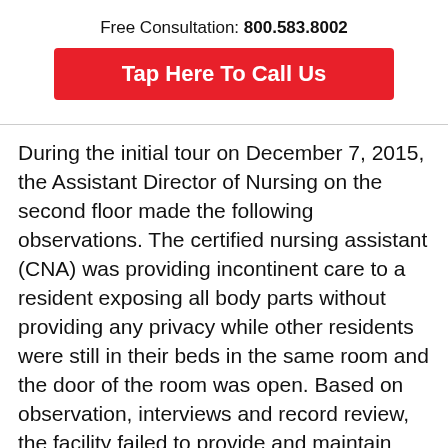Free Consultation: 800.583.8002
Tap Here To Call Us
During the initial tour on December 7, 2015, the Assistant Director of Nursing on the second floor made the following observations. The certified nursing assistant (CNA) was providing incontinent care to a resident exposing all body parts without providing any privacy while other residents were still in their beds in the same room and the door of the room was open. Based on observation, interviews and record review, the facility failed to provide and maintain sanitary residents' personal care items through improper storage and labeling of residents' names.